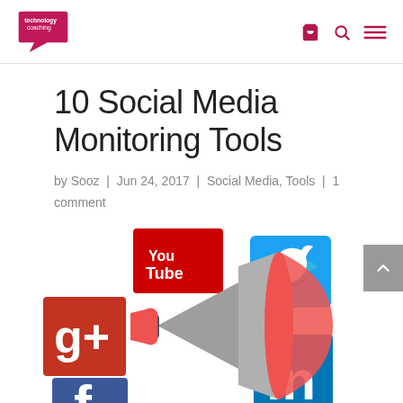technology coaching logo with cart, search, and menu icons
10 Social Media Monitoring Tools
by Sooz | Jun 24, 2017 | Social Media, Tools | 1 comment
[Figure (illustration): Collage of social media icons (YouTube, Twitter, Google+, LinkedIn, Facebook) with a megaphone/bullhorn illustration in the center]